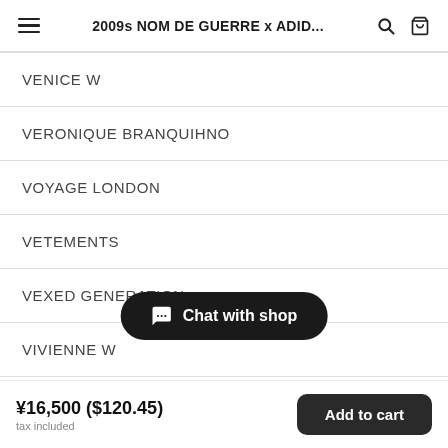2009s NOM DE GUERRE x ADID...
VENICE W
VERONIQUE BRANQUIHNO
VOYAGE LONDON
VETEMENTS
VEXED GENERATION
VIVIENNE W
W&LT
Chat with shop
¥16,500 ($120.45) tax included
Add to cart